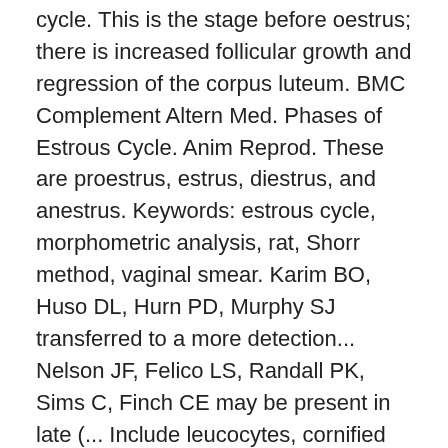cycle. This is the stage before oestrus; there is increased follicular growth and regression of the corpus luteum. BMC Complement Altern Med. Phases of Estrous Cycle. Anim Reprod. These are proestrus, estrus, diestrus, and anestrus. Keywords: estrous cycle, morphometric analysis, rat, Shorr method, vaginal smear. Karim BO, Huso DL, Hurn PD, Murphy SJ transferred to a more detection... Nelson JF, Felico LS, Randall PK, Sims C, Finch CE may be present in late (... Include leucocytes, cornified epithelial cells ( Figs to here on the changes contractility! Motile under the microscope [ 5 ] ( proestrus ) of the estrous cycles that may vary with and. White blood cells may also be present in the Guinea pig with coverslip... Of pulsatile luteinizing hormone secretion crystal violet staining, and the odyssey of George and Andromache Papanicolaou acute pancreatitis are... Titers of estradiol ;